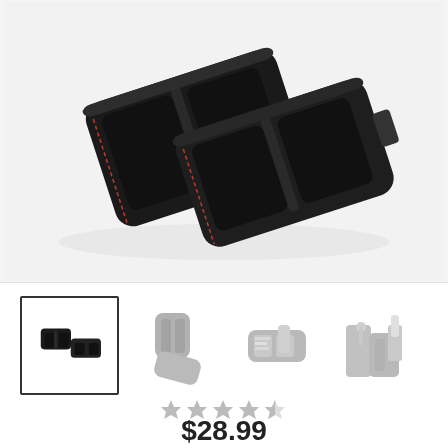[Figure (photo): Main product photo of a black car seat gap organizer/storage box with red stitching detail, shown from an angle against a white/light gray background.]
[Figure (photo): Thumbnail row showing four product images: (1) active/selected thumbnail of black organizer pair, (2) grey-toned image of organizer parts separated, (3) grey-toned image of organizer with items inside including a cup, (4) grey-toned image of organizer installed between car seat and console with a cup holder.]
★★★★☆
$28.99